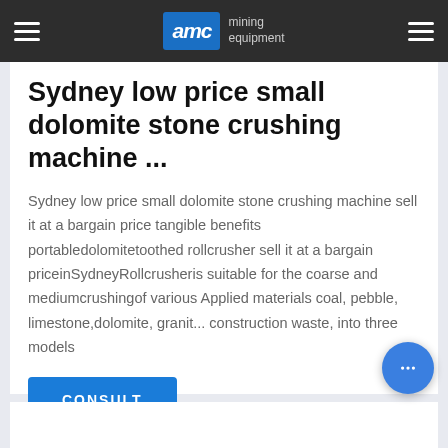AMC mining equipment
Sydney low price small dolomite stone crushing machine ...
Sydney low price small dolomite stone crushing machine sell it at a bargain price tangible benefits portabledolomitetoothed rollcrusher sell it at a bargain priceinSydneyRollcrusheris suitable for the coarse and mediumcrushingof various Applied materials coal, pebble, limestone,dolomite, granit... construction waste, into three models
CONSULT